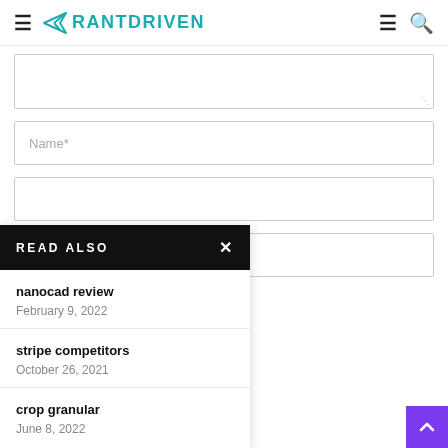RANTDRIVEN
[Figure (screenshot): Form fields: comment textarea (partially visible), Name* input field, and another input field (partially visible)]
bsite in this browser for
[Figure (infographic): READ ALSO panel overlay with items: nanocad review (February 9, 2022), stripe competitors (October 26, 2021), crop granular (June 8, 2022)]
[Figure (infographic): Purple back-to-top arrow button in bottom right corner]